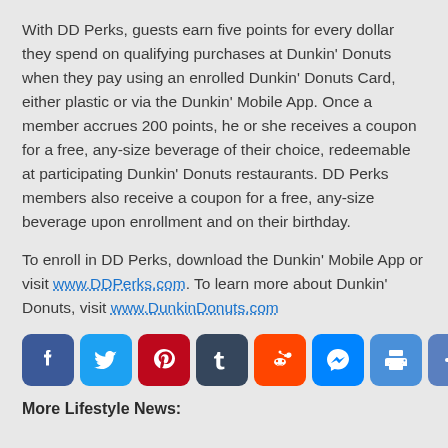With DD Perks, guests earn five points for every dollar they spend on qualifying purchases at Dunkin' Donuts when they pay using an enrolled Dunkin' Donuts Card, either plastic or via the Dunkin' Mobile App. Once a member accrues 200 points, he or she receives a coupon for a free, any-size beverage of their choice, redeemable at participating Dunkin' Donuts restaurants. DD Perks members also receive a coupon for a free, any-size beverage upon enrollment and on their birthday.
To enroll in DD Perks, download the Dunkin' Mobile App or visit www.DDPerks.com. To learn more about Dunkin' Donuts, visit www.DunkinDonuts.com
[Figure (infographic): Row of 8 social sharing icon buttons: Facebook, Twitter, Pinterest, Tumblr, Reddit, Messenger, Print, Plus/Share]
More Lifestyle News: